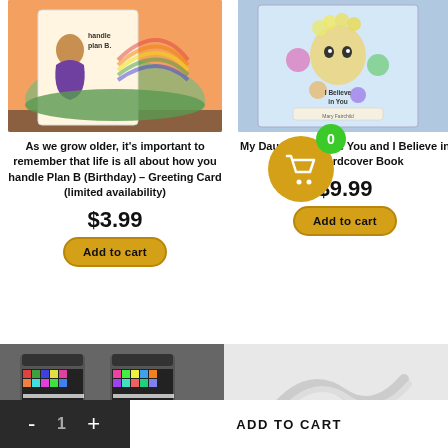[Figure (photo): Greeting card showing a cartoon woman in a purple dress with text about Plan B]
[Figure (photo): Hardcover book titled My Daughter I Love You I Believe in You with colorful illustration]
As we grow older, it’s important to remember that life is all about how you handle Plan B (Birthday) – Greeting Card (limited availability)
My Daughter, I Love You and I Believe in You – Hardcover Book
$3.99
$9.99
Add to cart
Add to cart
[Figure (photo): Colorful travel mugs with zebra stripe and mosaic pattern]
[Figure (photo): White silicone or wire item on white background]
- 1 + ADD TO CART